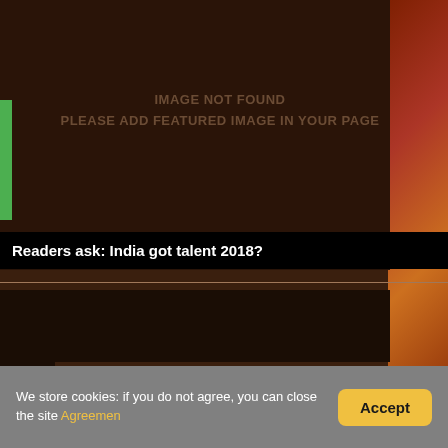[Figure (other): Dark brown panel with 'IMAGE NOT FOUND / PLEASE ADD FEATURED IMAGE IN YOUR PAGE' placeholder text, with decorative Indian-style food imagery on the right side]
Delhi
Readers ask: India got talent 2018?
[Figure (other): Dark brown/black content area below the title bar]
We store cookies: if you do not agree, you can close the site Agreemen
Accept